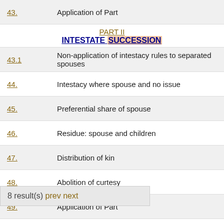43. Application of Part
PART II
INTESTATE SUCCESSION
43.1 Non-application of intestacy rules to separated spouses
44. Intestacy where spouse and no issue
45. Preferential share of spouse
46. Residue: spouse and children
47. Distribution of kin
48. Abolition of curtesy
49. Application of Part
PART III
DESIGNATION OF BENEFICIARIES OF INTEREST IN FUNDS OR PLANS
50. Definitions, Part III
51. Designation of beneficiaries
ation and validity of designation
ent and enforcement
53.1 Regulations, Part III